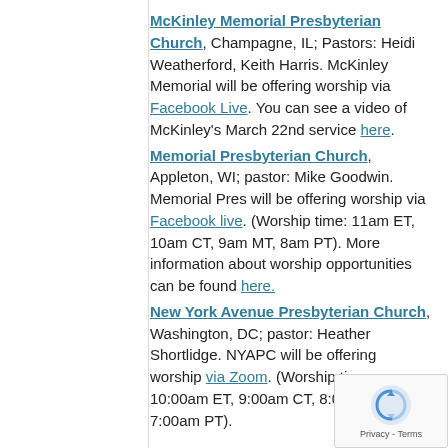McKinley Memorial Presbyterian Church, Champagne, IL; Pastors: Heidi Weatherford, Keith Harris. McKinley Memorial will be offering worship via Facebook Live. You can see a video of McKinley's March 22nd service here.
Memorial Presbyterian Church, Appleton, WI; pastor: Mike Goodwin. Memorial Pres will be offering worship via Facebook live. (Worship time: 11am ET, 10am CT, 9am MT, 8am PT). More information about worship opportunities can be found here.
New York Avenue Presbyterian Church, Washington, DC; pastor: Heather Shortlidge. NYAPC will be offering worship via Zoom. (Worship time: 10:00am ET, 9:00am CT, 8:00am MT, 7:00am PT).
Northminster Presbyterian Church, Evanston, IL; Pastors: Michael Kirby, Jessica Gregory. Northminster will worship online via Facebook live.